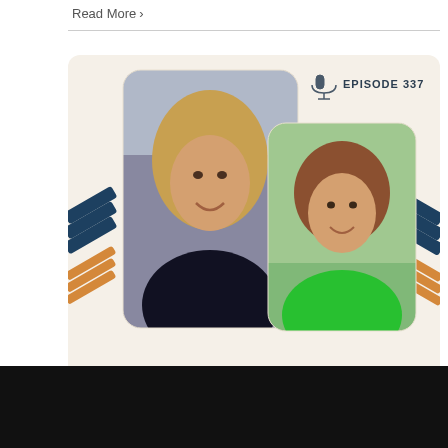Read More >
[Figure (photo): Podcast episode card for Episode 337 featuring two women: a woman with long blonde wavy hair in a black top on the left, and a woman with short brown hair in a green top on the right. Decorative diagonal stripe elements in navy and orange on sides. Beige/cream background. Title reads 'Client Profile with Jill Castle:']
Client Profile with Jill Castle: